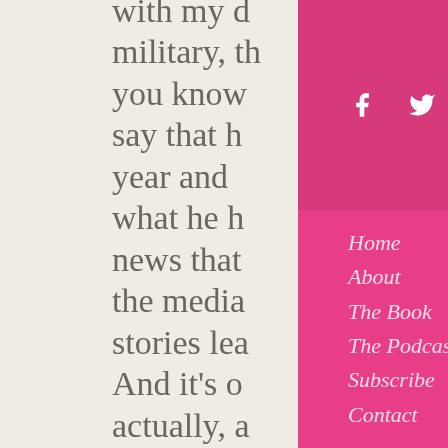with my d... military, th... you know... say that h... year and... what he h... news that... the media... stories lea... And it's o... actually, a... the form f... have, you... trying to a...
[Figure (other): Social media icons: Facebook, Twitter, Instagram in white on pink/magenta background]
Home
About
The Book
The Podcast
Subscribe
Contact